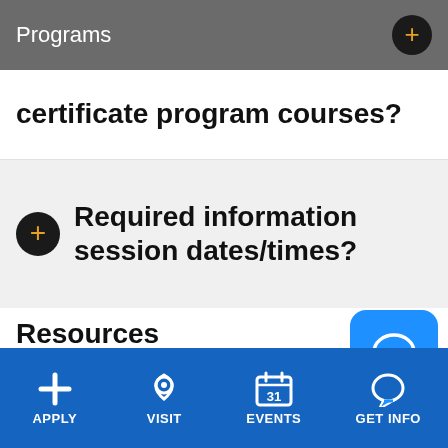Programs
certificate program courses?
+ Required information session dates/times?
Resources
View the current schedule or FAQ's
APPLY  VISIT  EVENTS  GET INFO